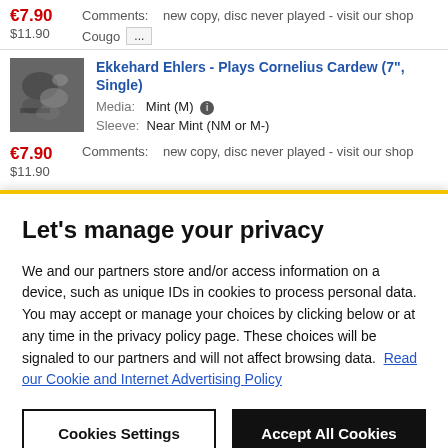€7.90 $11.90 Comments: new copy, disc never played - visit our shop Cougo ...
[Figure (photo): Album cover thumbnail - grayscale abstract image]
Ekkehard Ehlers - Plays Cornelius Cardew (7", Single) Media: Mint (M) Sleeve: Near Mint (NM or M-) Comments: new copy, disc never played - visit our shop
Let's manage your privacy
We and our partners store and/or access information on a device, such as unique IDs in cookies to process personal data. You may accept or manage your choices by clicking below or at any time in the privacy policy page. These choices will be signaled to our partners and will not affect browsing data. Read our Cookie and Internet Advertising Policy